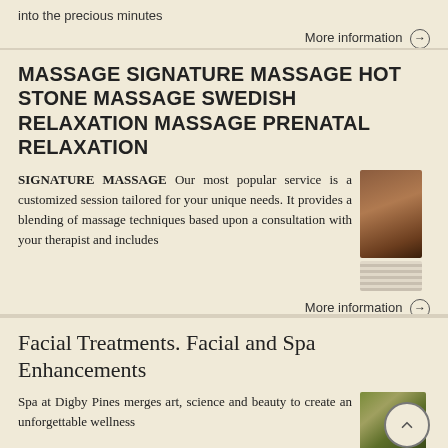into the precious minutes
More information →
MASSAGE SIGNATURE MASSAGE HOT STONE MASSAGE SWEDISH RELAXATION MASSAGE PRENATAL RELAXATION
SIGNATURE MASSAGE Our most popular service is a customized session tailored for your unique needs. It provides a blending of massage techniques based upon a consultation with your therapist and includes
[Figure (photo): Photo of a candle or spa ambiance in warm brown tones, with a striped texture block below it]
More information →
Facial Treatments. Facial and Spa Enhancements
Spa at Digby Pines merges art, science and beauty to create an unforgettable wellness
[Figure (photo): Photo of herbs or spa botanicals in green tones]